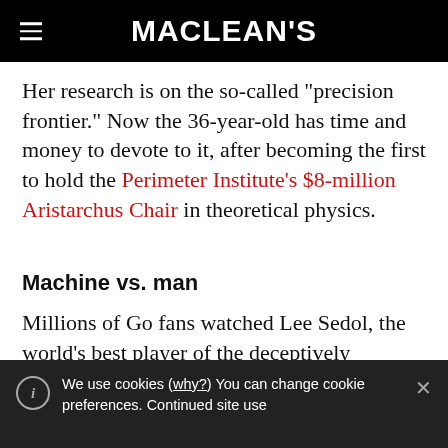MACLEAN'S
Her research is on the so-called "precision frontier." Now the 36-year-old has time and money to devote to it, after becoming the first to hold the Perimeter Institute's $8-million Aristarchus Chair in theoretical physics.
Machine vs. man
Millions of Go fans watched Lee Sedol, the world's best player of the deceptively
We use cookies (why?) You can change cookie preferences. Continued site use